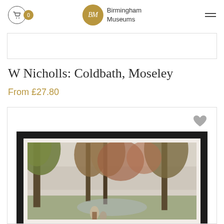Birmingham Museums — shopping page header with cart (0) and hamburger menu
[Figure (other): Empty banner/placeholder box below header]
W Nicholls: Coldbath, Moseley
From £27.80
[Figure (photo): Framed print product image showing a landscape painting (Coldbath, Moseley by W Nicholls) in a black frame, with autumn trees and figures, displayed with white mat inside a dark frame. A heart/favorite icon appears in the top-right of the product card.]